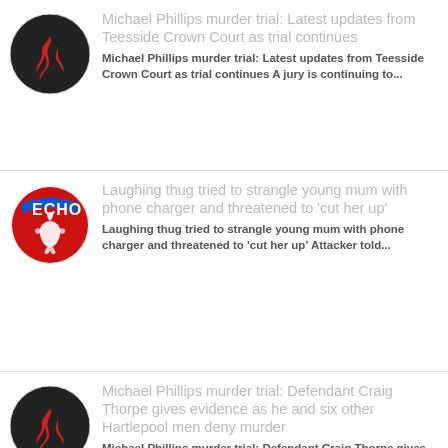[Figure (logo): Dark circular logo with red flame icon]
Michael Phillips murder trial: Latest updates from Teesside Crown Court as trial continues
Michael Phillips murder trial: Latest updates from Teesside Crown Court as trial continues A jury is continuing to...
[Figure (logo): Liverpool Echo circular logo - red background with white liver bird, ECHO text]
Laughing thug tried to strangle young mum with phone charger and threatened to 'cut her up'
Laughing thug tried to strangle young mum with phone charger and threatened to 'cut her up' Attacker told...
[Figure (logo): Dark circular logo with red flame icon]
Michael Phillips murder trial: Defendant Craig Thorpe gives evidence as he and six other Hartlepool men deny murder
Michael Phillips murder trial: Defendant Craig Thorpe gives evidence as he and six other Hartlepool men deny murder...